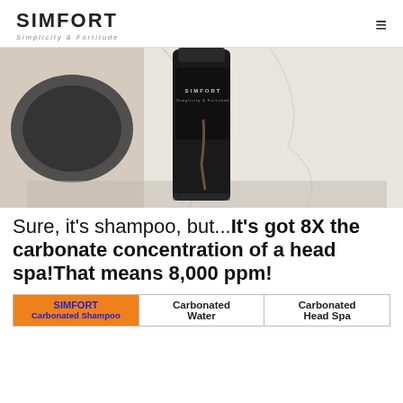SIMFORT
Simplicity & Fortitude
[Figure (photo): A dark cylindrical SIMFORT shampoo bottle on a marble/stone surface with some black stones, side and back view, soft focus background]
Sure, it's shampoo, but...It's got 8X the carbonate concentration of a head spa!That means 8,000 ppm!
| SIMFORT Carbonated Shampoo | Carbonated Water | Carbonated Head Spa |
| --- | --- | --- |